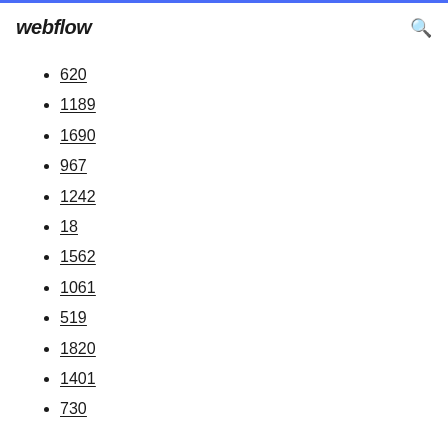webflow
620
1189
1690
967
1242
18
1562
1061
519
1820
1401
730